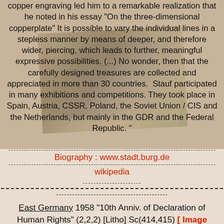copper engraving led him to a remarkable realization that he noted in his essay "On the three-dimensional copperplate" It is possible to vary the individual lines in a stepless manner by means of deeper, and therefore wider, piercing, which leads to further, meaningful expressive possibilities. (...) No wonder, then that the carefully designed treasures are collected and appreciated in more than 30 countries. Stauf participated in many exhibitions and competitions. They took place in Spain, Austria, CSSR, Poland, the Soviet Union / CIS and the Netherlands, but mainly in the GDR and the Federal Republic. "
[Figure (photo): Sepia-toned vintage photographs overlapping in background]
Biography : www.stadt.burg.de
wikipedia
East Germany 1958 "10th Anniv. of Declaration of Human Rights" (2,2,2) [Litho] Sc(414,415) [ Image credit of Stampworld ]